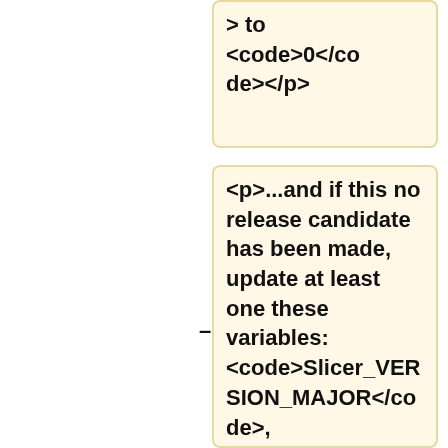> to <code>0</code></p>
<p>...and if this no release candidate has been made, update at least one these variables: <code>Slicer_VERSION_MAJOR</code>, <code>Slicer_VERSION_MINOR</code>,